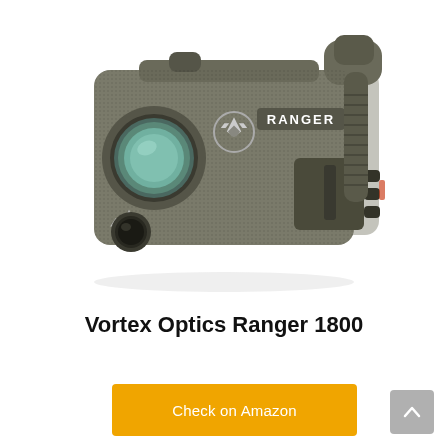[Figure (photo): Product photo of Vortex Optics Ranger 1800 laser rangefinder — a compact dark olive/grey monocular device with green lens on the left, Vortex logo, RANGER label on side, and controls on the right side, shown on white background.]
Vortex Optics Ranger 1800
Check on Amazon